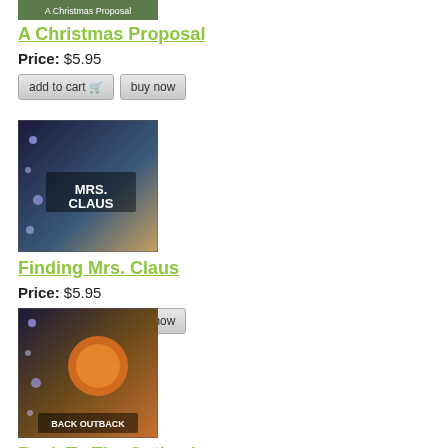[Figure (photo): Product image for A Christmas Proposal DVD/movie]
A Christmas Proposal
Price: $5.95
[Figure (photo): Product image for Finding Mrs. Claus DVD/movie showing Mrs. Claus text overlay]
Finding Mrs. Claus
Price: $5.95
[Figure (photo): Product image for Back To The Outback animated movie]
Back To The Outback